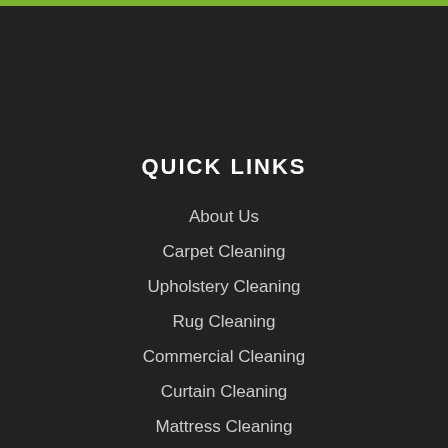QUICK LINKS
About Us
Carpet Cleaning
Upholstery Cleaning
Rug Cleaning
Commercial Cleaning
Curtain Cleaning
Mattress Cleaning
Stain Protection